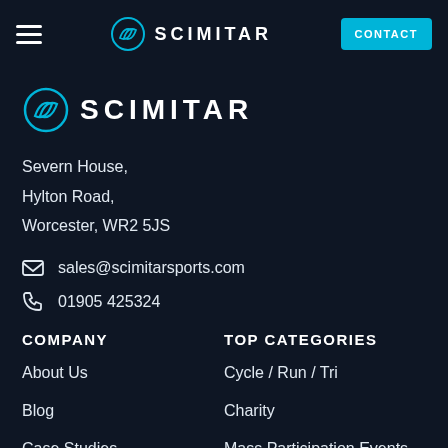SCIMITAR — navigation bar with hamburger menu and CONTACT button
[Figure (logo): Scimitar logo — circular swoosh icon with SCIMITAR text in large spaced letters]
Severn House,
Hylton Road,
Worcester, WR2 5JS
sales@scimitarsports.com
01905 425324
COMPANY
About Us
Blog
Case Studies
TOP CATEGORIES
Cycle / Run / Tri
Charity
Mass Participation Events